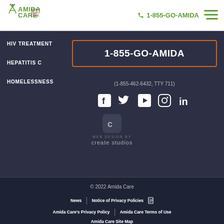[Figure (logo): Amida Care logo with Health. Advocacy. Care. tagline in green and red]
1-855-GO-AMIDA
HIV TREATMENT
HEPATITIS C
HOMELESSNESS
1-855-GO-AMIDA
(1-855-462-6432, TTY 711)
[Figure (other): Social media icons: Facebook, Twitter, YouTube, Instagram, LinkedIn]
[Figure (logo): Web Design by create studios logo]
© 2022 Amida Care
News | Notice of Privacy Policies | Amida Care's Privacy Policy | Amida Care Terms of Use | Amida Care Site Map